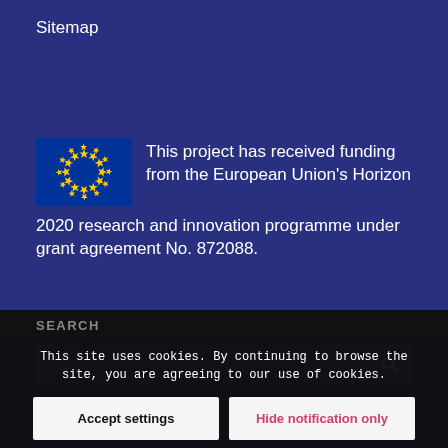Sitemap
[Figure (logo): European Union flag — blue rectangle with circle of 12 yellow stars]
This project has received funding from the European Union's Horizon 2020 research and innovation programme under grant agreement No. 872088.
SEARCH
This site uses cookies. By continuing to browse the site, you are agreeing to our use of cookies.
Accept settings
Hide notification only